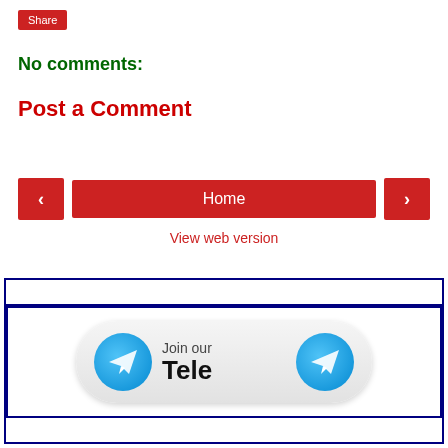Share
No comments:
Post a Comment
< Home >
View web version
[Figure (infographic): Telegram channel join banner with two Telegram icons and text 'Join our Tele' inside a rounded rectangle, within a dark blue bordered box]